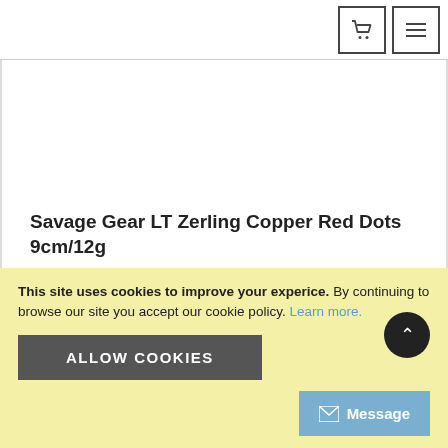Shopping cart icon | Menu icon
Savage Gear LT Zerling Copper Red Dots 9cm/12g
In stock
Perfect Sandeel imitation
Long cast design
360 degree rotation on spin stop
This site uses cookies to improve your experice. By continuing to browse our site you accept our cookie policy. Learn more.
ALLOW COOKIES
Message